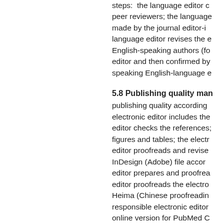steps:  the language editor c... peer reviewers; the language... made by the journal editor-i... language editor revises the e... English-speaking authors (fo... editor and then confirmed by... speaking English-language e...
5.8 Publishing quality man...
publishing quality according... electronic editor includes the... editor checks the references;... figures and tables; the electr... editor proofreads and revise... InDesign (Adobe) file accor... editor prepares and proofrea... editor proofreads the electro... Heima (Chinese proofreadin... responsible electronic editor... online version for PubMed C... article is prepared for archiv...